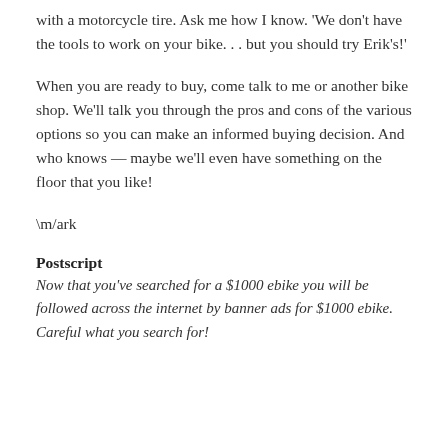with a motorcycle tire. Ask me how I know. 'We don't have the tools to work on your bike. . . but you should try Erik's!'
When you are ready to buy, come talk to me or another bike shop. We'll talk you through the pros and cons of the various options so you can make an informed buying decision. And who knows — maybe we'll even have something on the floor that you like!
\m/ark
Postscript
Now that you've searched for a $1000 ebike you will be followed across the internet by banner ads for $1000 ebike. Careful what you search for!